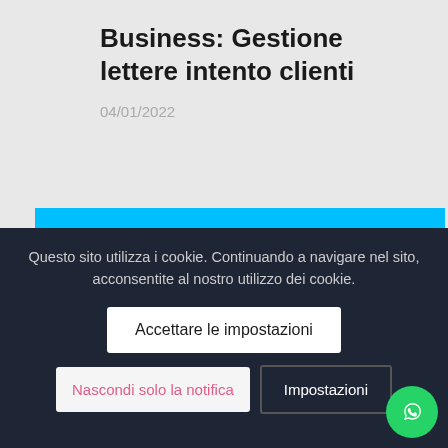Business: Gestione lettere intento clienti
04/01/2022
Subscribe to our Newsletter
Questo sito utilizza i cookie. Continuando a navigare nel sito, acconsentite al nostro utilizzo dei cookie.
Accettare le impostazioni
Nascondi solo la notifica
Impostazioni